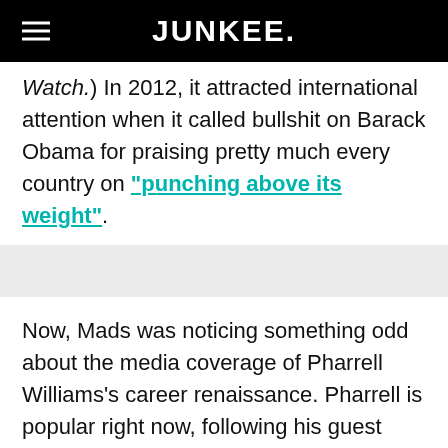JUNKEE.
Watch.) In 2012, it attracted international attention when it called bullshit on Barack Obama for praising pretty much every country on “punching above its weight”.
Now, Mads was noticing something odd about the media coverage of Pharrell Williams’s career renaissance. Pharrell is popular right now, following his guest spots on last year’s megahits ‘Blurred Lines’ and ‘Get Lucky’, and this year’s album G I R L and Oscar-nominated single ‘Happy’. But was he responsible, as is widely reported, for 43% of songs